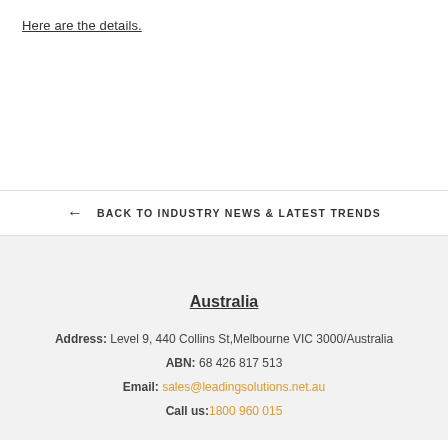Here are the details.
← BACK TO INDUSTRY NEWS & LATEST TRENDS
Australia
Address: Level 9, 440 Collins St,Melbourne VIC 3000/Australia
ABN: 68 426 817 513
Email: sales@leadingsolutions.net.au
Call us: 1800 960 015